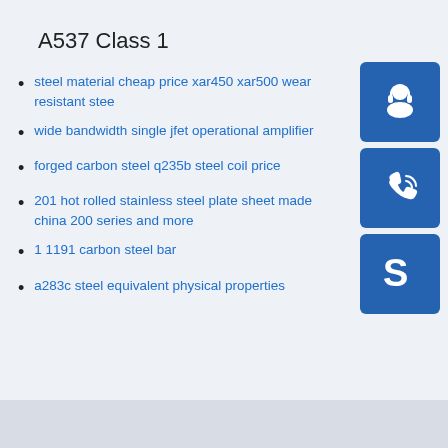A537 Class 1
steel material cheap price xar450 xar500 wear resistant stee
wide bandwidth single jfet operational amplifier
forged carbon steel q235b steel coil price
201 hot rolled stainless steel plate sheet made china 200 series and more
1 1191 carbon steel bar
a283c steel equivalent physical properties
[Figure (illustration): Three blue icon buttons: headset/customer service icon, phone icon, and Skype icon]
[Figure (illustration): Gray footer bar at bottom of page]